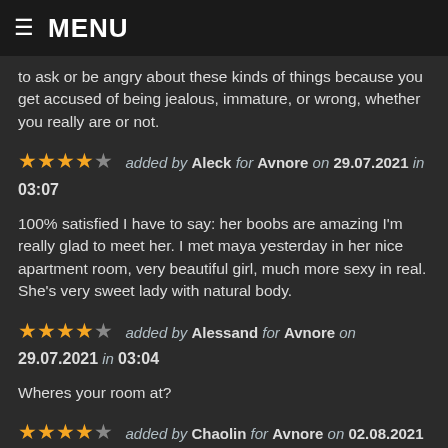MENU
to ask or be angry about these kinds of things because you get accused of being jealous, immature, or wrong, whether you really are or not.
★★★★☆ added by Aleck for Avnore on 29.07.2021 in 03:07
100% satisfied I have to say: her boobs are amazing I'm really glad to meet her. I met maya yesterday in her nice apartment room, very beautiful girl, much more sexy in real. She's very sweet lady with natural body.
★★★★☆ added by Alessand for Avnore on 29.07.2021 in 03:04
Wheres your room at?
★★★★☆ added by Chaolin for Avnore on 02.08.2021 in 01:09
still 107/1 !!!! and she deserves every vote oh nice, you had to say something.